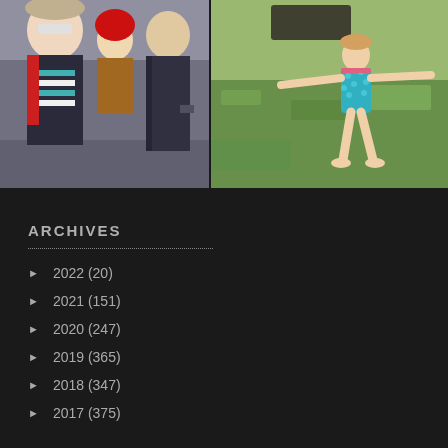[Figure (photo): Two photos side by side. Left: A family group photo in winter clothing outdoors — a woman with sunglasses and fur hat, a child in a red helmet, and a man in a dark jacket. Right: A young girl in a teal/blue polka-dot swimsuit standing on grass with arms outstretched.]
ARCHIVES
► 2022 (20)
► 2021 (151)
► 2020 (247)
► 2019 (365)
► 2018 (347)
► 2017 (375)